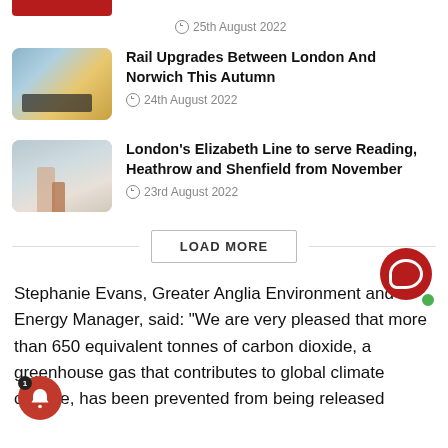25th August 2022
Rail Upgrades Between London And Norwich This Autumn
24th August 2022
London's Elizabeth Line to serve Reading, Heathrow and Shenfield from November
23rd August 2022
LOAD MORE
Stephanie Evans, Greater Anglia Environment and Energy Manager, said: “We are very pleased that more than 650 equivalent tonnes of carbon dioxide, a greenhouse gas that contributes to global climate change, has been prevented from being released